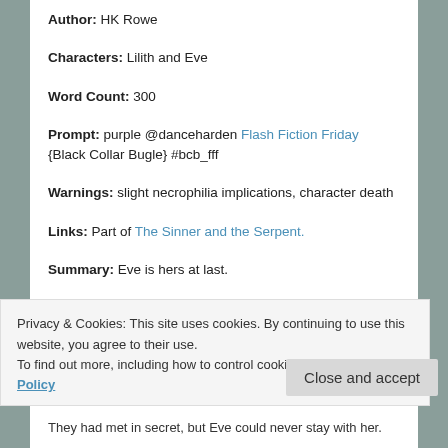Author: HK Rowe
Characters: Lilith and Eve
Word Count: 300
Prompt: purple @danceharden Flash Fiction Friday {Black Collar Bugle} #bcb_fff
Warnings: slight necrophilia implications, character death
Links: Part of The Sinner and the Serpent.
Summary: Eve is hers at last.
Privacy & Cookies: This site uses cookies. By continuing to use this website, you agree to their use. To find out more, including how to control cookies, see here: Cookie Policy
Close and accept
They had met in secret, but Eve could never stay with her.